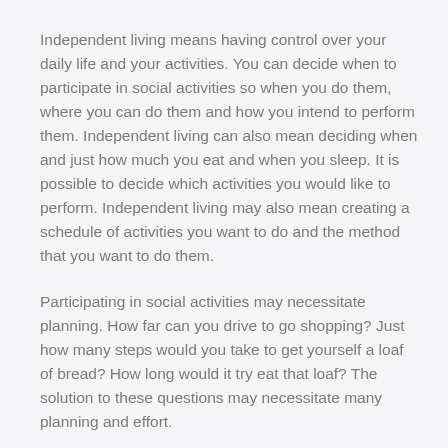Independent living means having control over your daily life and your activities. You can decide when to participate in social activities so when you do them, where you can do them and how you intend to perform them. Independent living can also mean deciding when and just how much you eat and when you sleep. It is possible to decide which activities you would like to perform. Independent living may also mean creating a schedule of activities you want to do and the method that you want to do them.
Participating in social activities may necessitate planning. How far can you drive to go shopping? Just how many steps would you take to get yourself a loaf of bread? How long would it try eat that loaf? The solution to these questions may necessitate many planning and effort.